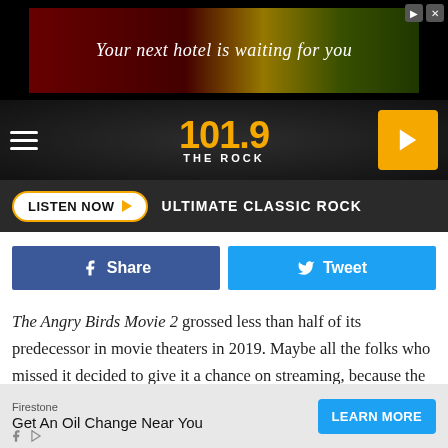[Figure (screenshot): Advertisement banner: 'Your next hotel is waiting for you' with scenic background]
[Figure (logo): 101.9 THE ROCK radio station logo in gold text on dark hexagonal background, with hamburger menu and play button]
LISTEN NOW  ULTIMATE CLASSIC ROCK
[Figure (screenshot): Facebook Share button (blue) and Twitter Tweet button (light blue)]
The Angry Birds Movie 2 grossed less than half of its predecessor in movie theaters in 2019. Maybe all the folks who missed it decided to give it a chance on streaming, because the movie is currently ranking among the top ten movies on Netflix in 13 different countries, including Qatar, South Africa, and Turkey. Once again we see the immense drawing power of Jason Sudeikis as the voice of an angry
[Figure (screenshot): Firestone advertisement: 'Get An Oil Change Near You' with Learn More button]